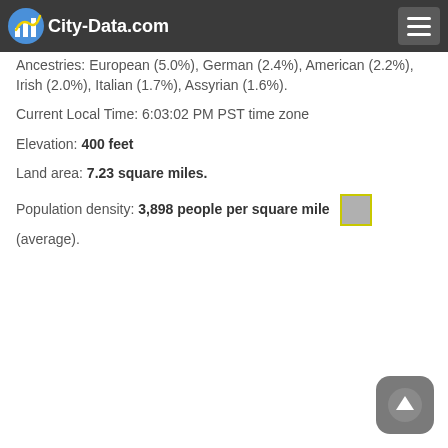City-Data.com
Ancestries: European (5.0%), German (2.4%), American (2.2%), Irish (2.0%), Italian (1.7%), Assyrian (1.6%).
Current Local Time: 6:03:02 PM PST time zone
Elevation: 400 feet
Land area: 7.23 square miles.
Population density: 3,898 people per square mile (average).